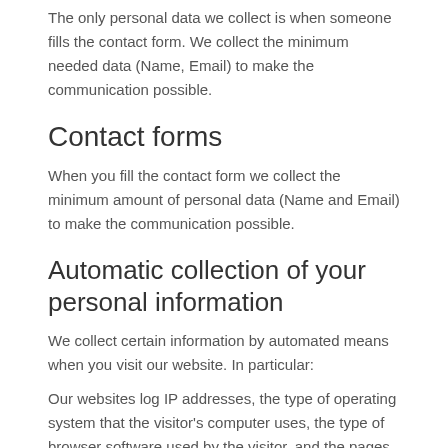The only personal data we collect is when someone fills the contact form. We collect the minimum needed data (Name, Email) to make the communication possible.
Contact forms
When you fill the contact form we collect the minimum amount of personal data (Name and Email) to make the communication possible.
Automatic collection of your personal information
We collect certain information by automated means when you visit our website. In particular:
Our websites log IP addresses, the type of operating system that the visitor's computer uses, the type of browser software used by the visitor, and the pages accessed by the visitor.